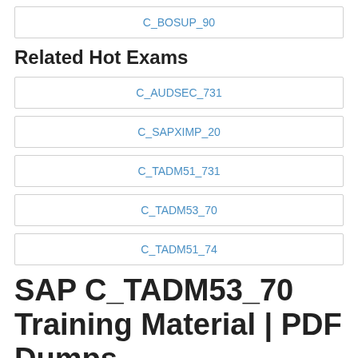C_BOSUP_90
Related Hot Exams
C_AUDSEC_731
C_SAPXIMP_20
C_TADM51_731
C_TADM53_70
C_TADM51_74
SAP C_TADM53_70 Training Material | PDF Dumps